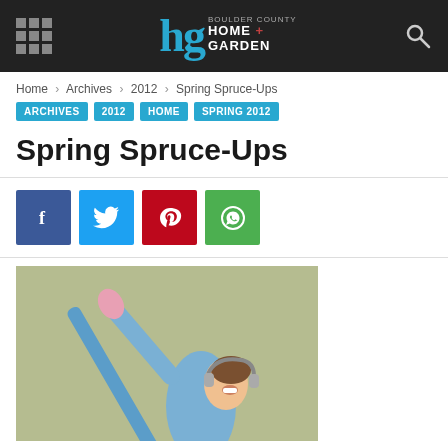Boulder County Home + Garden — header with navigation grid icon, logo, and search icon
Home › Archives › 2012 › Spring Spruce-Ups
ARCHIVES
2012
HOME
SPRING 2012
Spring Spruce-Ups
[Figure (infographic): Social sharing buttons: Facebook (dark blue), Twitter (light blue), Pinterest (red), WhatsApp (green)]
[Figure (photo): Woman in pink gloves and headphones laughing while holding a blue mop or pole, spring cleaning theme, green-beige background]